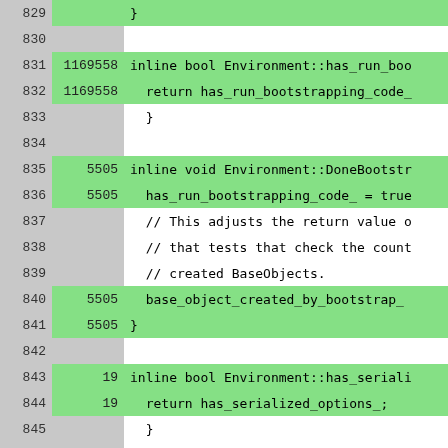[Figure (screenshot): Code coverage viewer showing source code lines 829-855 with line numbers, hit counts, and code content. Lines with coverage are highlighted in green, uncovered/neutral lines are white/gray.]